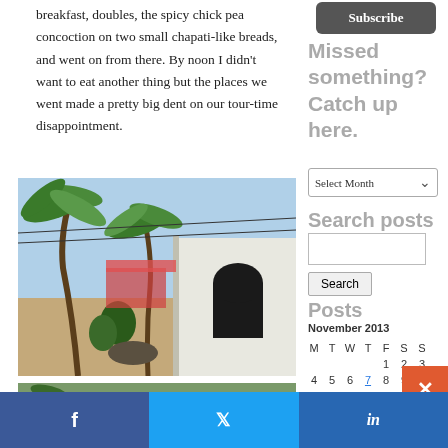breakfast, doubles, the spicy chick pea concoction on two small chapati-like breads, and went on from there. By noon I didn't want to eat another thing but the places we went made a pretty big dent on our tour-time disappointment.
[Figure (photo): Outdoor scene with tropical palm trees and a white building with an arched doorway, sandy ground]
[Figure (photo): Partial view of tropical outdoor scene with palm trees]
Subscribe
Missed something? Catch up here.
Select Month
Search posts
Search
Posts
November 2013
| M | T | W | T | F | S | S |
| --- | --- | --- | --- | --- | --- | --- |
|  |  |  |  | 1 | 2 | 3 |
| 4 | 5 | 6 | 7 | 8 | 9 | 10 |
| 11 | 12 | 13 | 14 | 15 | 16 |  |
| 18 | 19 | 20 | 21 | 22 | 23 |  |